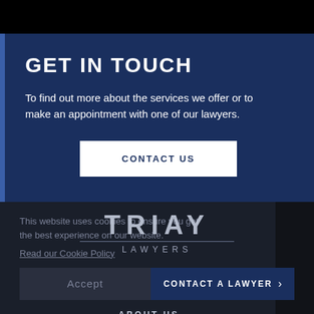GET IN TOUCH
To find out more about the services we offer or to make an appointment with one of our lawyers.
CONTACT US
This website uses cookies to ensure you get the best experience on our website.
Read our Cookie Policy
[Figure (logo): TRIAY LAWYERS logo in silver/grey text]
Accept
CONTACT A LAWYER >
ABOUT US ˅
EXPERTISE ˅